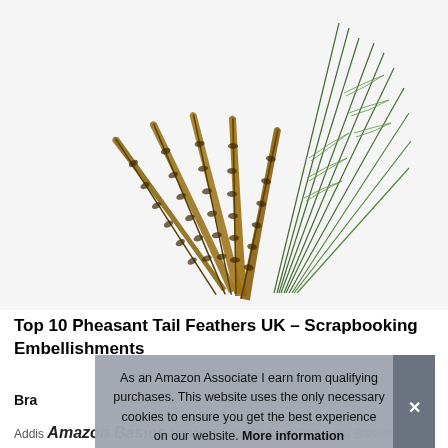[Figure (photo): Product photo showing a bundle of pheasant tail feathers (long striped brown/black feathers) alongside green peacock-style feathers, on a white/light gray background.]
Top 10 Pheasant Tail Feathers UK – Scrapbooking Embellishments
Bra
As an Amazon Associate I earn from qualifying purchases. This website uses the only necessary cookies to ensure you get the best experience on our website. More information
Addis Amazon Basics AmazonBasics Bedsure Brabantia Breville